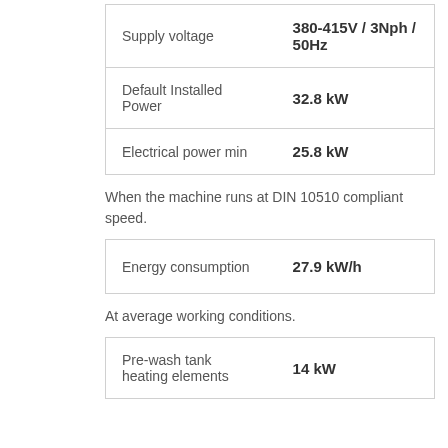| Property | Value |
| --- | --- |
| Supply voltage | 380-415V / 3Nph / 50Hz |
| Default Installed Power | 32.8 kW |
| Electrical power min | 25.8 kW |
When the machine runs at DIN 10510 compliant speed.
| Property | Value |
| --- | --- |
| Energy consumption | 27.9 kW/h |
At average working conditions.
| Property | Value |
| --- | --- |
| Pre-wash tank heating elements | 14 kW |